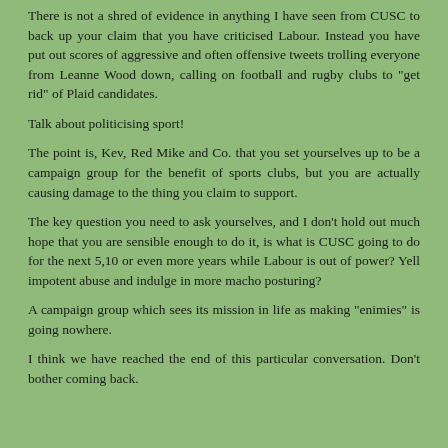There is not a shred of evidence in anything I have seen from CUSC to back up your claim that you have criticised Labour. Instead you have put out scores of aggressive and often offensive tweets trolling everyone from Leanne Wood down, calling on football and rugby clubs to "get rid" of Plaid candidates.
Talk about politicising sport!
The point is, Kev, Red Mike and Co. that you set yourselves up to be a campaign group for the benefit of sports clubs, but you are actually causing damage to the thing you claim to support.
The key question you need to ask yourselves, and I don't hold out much hope that you are sensible enough to do it, is what is CUSC going to do for the next 5,10 or even more years while Labour is out of power? Yell impotent abuse and indulge in more macho posturing?
A campaign group which sees its mission in life as making "enimies" is going nowhere.
I think we have reached the end of this particular conversation. Don't bother coming back.